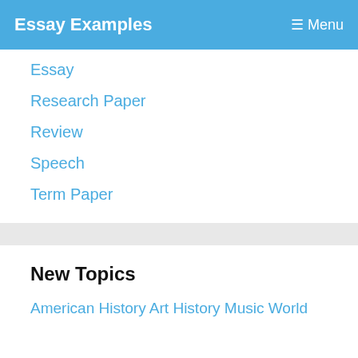Essay Examples   Menu
Essay
Research Paper
Review
Speech
Term Paper
New Topics
American History Art History Music World